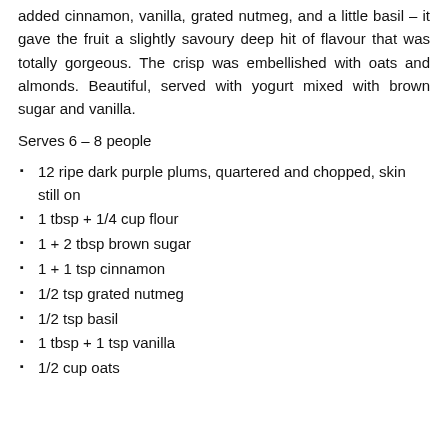added cinnamon, vanilla, grated nutmeg, and a little basil – it gave the fruit a slightly savoury deep hit of flavour that was totally gorgeous. The crisp was embellished with oats and almonds. Beautiful, served with yogurt mixed with brown sugar and vanilla.
Serves 6 – 8 people
12 ripe dark purple plums, quartered and chopped, skin still on
1 tbsp + 1/4 cup flour
1 + 2 tbsp brown sugar
1 + 1 tsp cinnamon
1/2 tsp grated nutmeg
1/2 tsp basil
1 tbsp + 1 tsp vanilla
1/2 cup oats